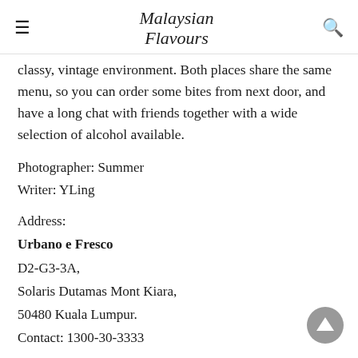Malaysian Flavours
classy, vintage environment. Both places share the same menu, so you can order some bites from next door, and have a long chat with friends together with a wide selection of alcohol available.
Photographer: Summer
Writer: YLing
Address:
Urbano e Fresco
D2-G3-3A,
Solaris Dutamas Mont Kiara,
50480 Kuala Lumpur.
Contact: 1300-30-3333